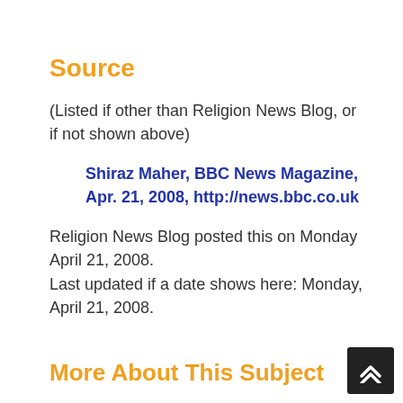Source
(Listed if other than Religion News Blog, or if not shown above)
Shiraz Maher, BBC News Magazine, Apr. 21, 2008, http://news.bbc.co.uk
Religion News Blog posted this on Monday April 21, 2008.
Last updated if a date shows here: Monday, April 21, 2008.
More About This Subject